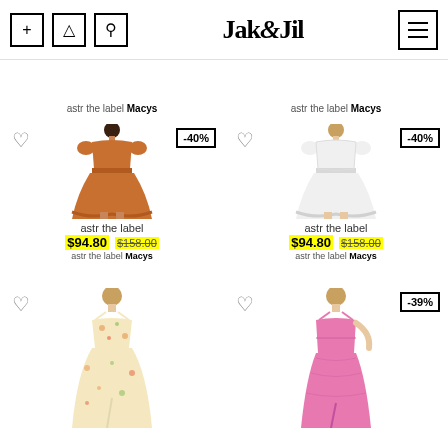Jak&Jil
astr the label Macys
astr the label Macys
[Figure (photo): Woman wearing orange/rust puff-sleeve midi dress]
astr the label
$94.80 $158.00
astr the label Macys
[Figure (photo): Woman wearing white puff-sleeve midi dress]
astr the label
$94.80 $158.00
astr the label Macys
[Figure (photo): Woman wearing floral spaghetti strap dress]
[Figure (photo): Woman wearing pink spaghetti strap dress, -39% discount]